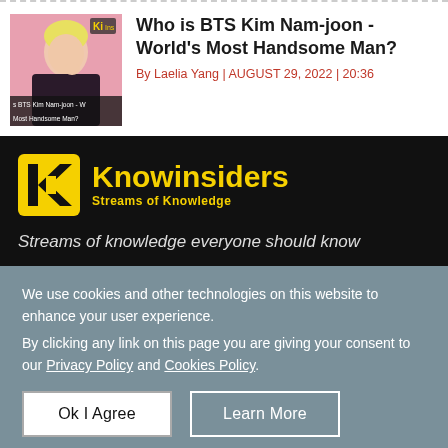[Figure (photo): Thumbnail photo of BTS Kim Nam-joon with blonde hair, with a watermark logo and caption 's BTS Kim Nam-joon - W... Most Handsome Man?' overlaid at the bottom]
Who is BTS Kim Nam-joon - World's Most Handsome Man?
By Laelia Yang | AUGUST 29, 2022 | 20:36
[Figure (logo): Knowinsiders logo: yellow K-shaped icon and bold yellow 'Knowinsiders' wordmark with 'Streams of Knowledge' tagline on black background]
Streams of knowledge everyone should know
We use cookies and other technologies on this website to enhance your user experience.
By clicking any link on this page you are giving your consent to our Privacy Policy and Cookies Policy.
Ok I Agree
Learn More